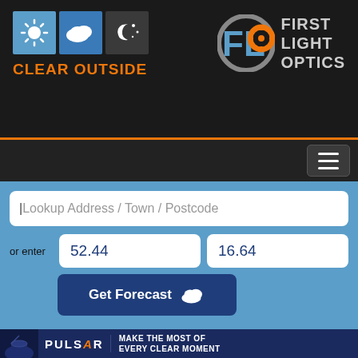[Figure (logo): Clear Outside logo with sun, cloud, and moon/star weather icons and orange text 'CLEAR OUTSIDE']
[Figure (logo): First Light Optics logo with FLO letters in blue and orange circle target icon, with text FIRST LIGHT OPTICS in gray]
[Figure (screenshot): Navigation hamburger menu button (three horizontal lines) on dark background]
Lookup Address / Town / Postcode
or enter
52.44
16.64
Get Forecast
[Figure (logo): Pulsar Observatories banner ad with text 'MAKE THE MOST OF EVERY CLEAR MOMENT']